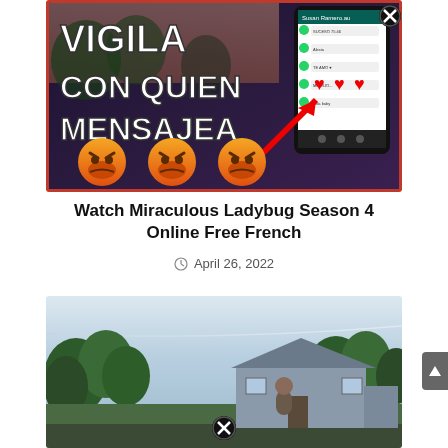[Figure (screenshot): Thumbnail image with Spanish text 'VIGILA CON QUIEN MENSAJEA' (Watch who they message) with angry face emojis, red hearts, a phone showing WhatsApp messages, and a red close button overlay]
Watch Miraculous Ladybug Season 4 Online Free French
April 26, 2022
[Figure (photo): Photo of a suburban neighborhood street view with trees, a house with gray siding, overcast sky, and a red close button overlay at the bottom center]